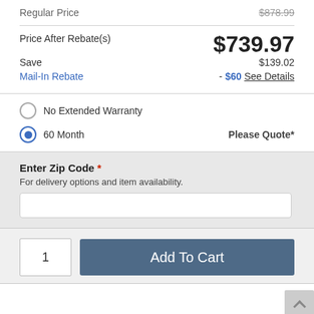Regular Price   $878.99
Price After Rebate(s)   $739.97
Save   $139.02
Mail-In Rebate   - $60 See Details
No Extended Warranty
60 Month   Please Quote*
Enter Zip Code *
For delivery options and item availability.
1
Add To Cart
Share This Item